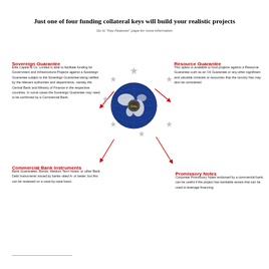Just one of four funding collateral keys will build your realistic projects
Go to 'Key Features' page for more information
[Figure (illustration): A globe image with silver star/snowflake decorations around it and a small metallic badge in the center, surrounded by four arrow indicators pointing outward to the four quadrant text sections.]
Sovereign Guarantee
Elite Capital & Co. Limited is able to facilitate funding for Government and Infrastructure Projects against a Sovereign Guarantee subject to the Sovereign Guarantee being ratified by the relevant authorities and departments, namely the Central Bank and Ministry of Finance in the respective countries. In some cases the Sovereign Guarantee may need to be confirmed by a Commercial Bank.
Resource Guarantee
This option is available to fund projects against a Resource Guarantee such as an Oil Guarantee or any other significant and valuable minerals or resources that the country has may also be considered.
Commercial Bank Instruments
Bank Guarantees, Bonds, Medium Term Notes, or other Bank Debt Instruments issued by banks rated A- or better, but this can be reviewed on a case-by-case basis.
Promissory Notes
Corporate Promissory Notes endorsed by a commercial bank can be useful if the project has bankable assets that can be used to leverage financing.